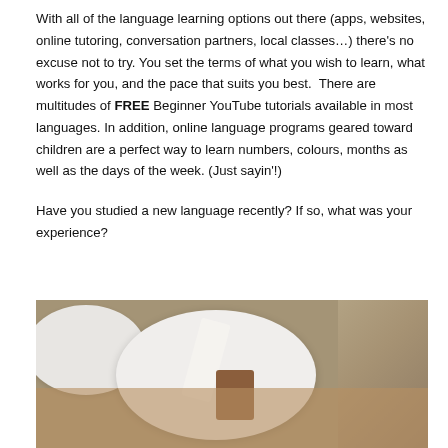With all of the language learning options out there (apps, websites, online tutoring, conversation partners, local classes…) there's no excuse not to try. You set the terms of what you wish to learn, what works for you, and the pace that suits you best.  There are multitudes of FREE Beginner YouTube tutorials available in most languages. In addition, online language programs geared toward children are a perfect way to learn numbers, colours, months as well as the days of the week. (Just sayin'!)
Have you studied a new language recently? If so, what was your experience?
[Figure (photo): A dining table set with white plates, a napkin, and a small framed card/menu holder, with floral decorations and warm wooden tones.]